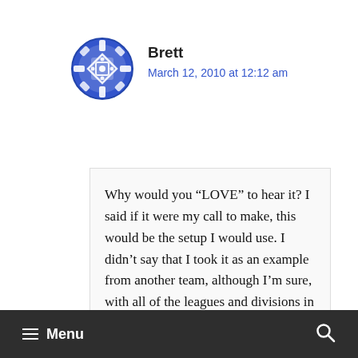[Figure (illustration): Blue and white decorative circular avatar icon with geometric pattern]
Brett
March 12, 2010 at 12:12 am
Why would you “LOVE” to hear it? I said if it were my call to make, this would be the setup I would use. I didn’t say that I took it as an example from another team, although I’m sure, with all of the leagues and divisions in the workd, there’s a team out there who has played with a formation such as this.
≡ Menu